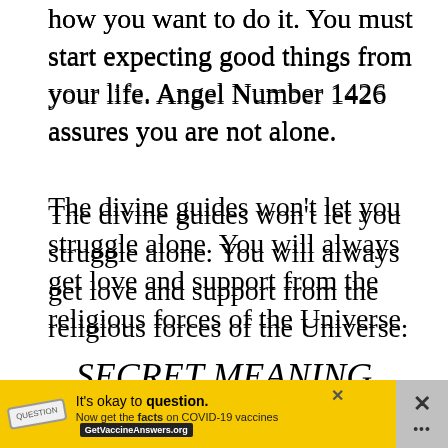how you want to do it. You must start expecting good things from your life. Angel Number 1426 assures you are not alone.
The divine guides won't let you struggle alone. You will always get love and support from the religious forces of the Universe.
SECRET MEANING AND SYMBOLISM
Secretly, the prevalence of angel number 1426 in your life means that you have been be... Yo... G...